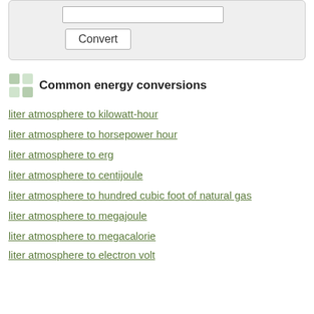[Figure (screenshot): A converter UI box with a text input field and a Convert button on a light gray background]
Common energy conversions
liter atmosphere to kilowatt-hour
liter atmosphere to horsepower hour
liter atmosphere to erg
liter atmosphere to centijoule
liter atmosphere to hundred cubic foot of natural gas
liter atmosphere to megajoule
liter atmosphere to megacalorie
liter atmosphere to electron volt